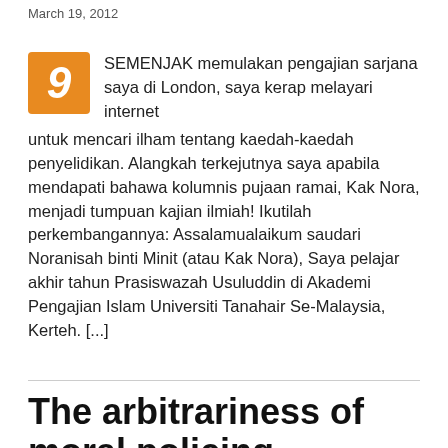March 19, 2012
SEMENJAK memulakan pengajian sarjana saya di London, saya kerap melayari internet untuk mencari ilham tentang kaedah-kaedah penyelidikan. Alangkah terkejutnya saya apabila mendapati bahawa kolumnis pujaan ramai, Kak Nora, menjadi tumpuan kajian ilmiah! Ikutilah perkembangannya: Assalamualaikum saudari Noranisah binti Minit (atau Kak Nora), Saya pelajar akhir tahun Prasiswazah Usuluddin di Akademi Pengajian Islam Universiti Tanahair Se-Malaysia, Kerteh. [...]
The arbitrariness of moral policing